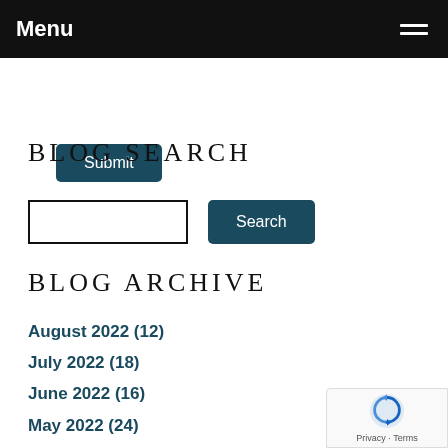Menu
Submit
BLOG SEARCH
Search
BLOG ARCHIVE
August 2022 (12)
July 2022 (18)
June 2022 (16)
May 2022 (24)